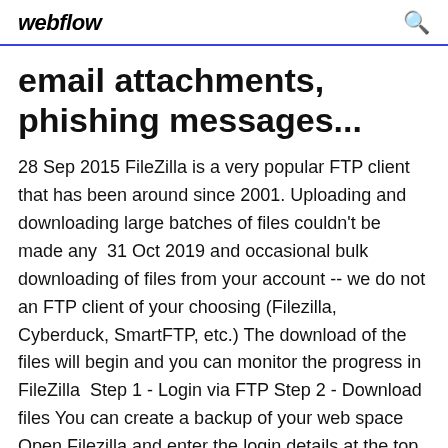webflow
email attachments, phishing messages...
28 Sep 2015 FileZilla is a very popular FTP client that has been around since 2001. Uploading and downloading large batches of files couldn't be made any  31 Oct 2019 and occasional bulk downloading of files from your account -- we do not an FTP client of your choosing (Filezilla, Cyberduck, SmartFTP, etc.) The download of the files will begin and you can monitor the progress in FileZilla  Step 1 - Login via FTP Step 2 - Download files You can create a backup of your web space Open Filezilla and enter the login details at the top of the screen. FileZilla: